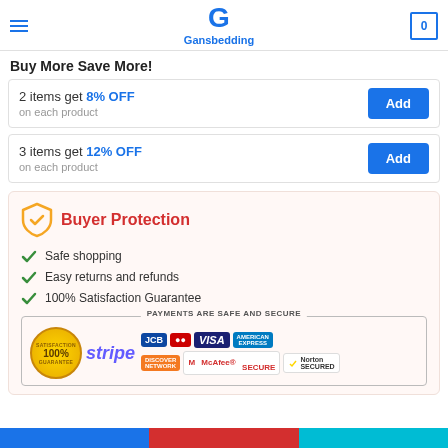Gansbedding
Buy More Save More!
2 items get 8% OFF on each product
3 items get 12% OFF on each product
Buyer Protection
Safe shopping
Easy returns and refunds
100% Satisfaction Guarantee
[Figure (infographic): Payments are safe and secure section with Stripe, JCB, Mastercard, Visa, American Express, Discover, McAfee Secure, Norton Secured logos and a 100% Satisfaction Guarantee badge]